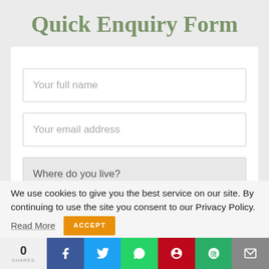Quick Enquiry Form
[Figure (screenshot): Web form with fields: Your full name, Your email address, Where do you live?]
We use cookies to give you the best service on our site. By continuing to use the site you consent to our Privacy Policy.
Read More   ACCEPT
[Figure (infographic): Social sharing bar with share count 0 SHARES, Facebook, Twitter, WhatsApp, Pinterest, WeChat, Email buttons]